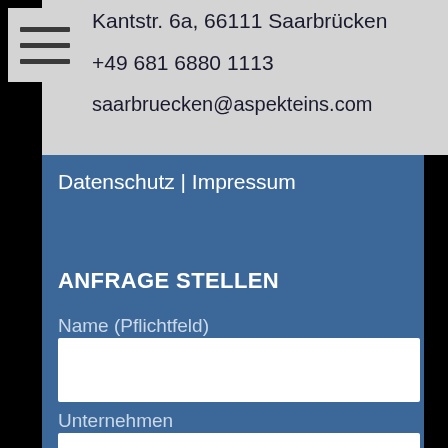Kantstr. 6a, 66111 Saarbrücken
+49 681 6880 1113
saarbruecken@aspekteins.com
Datenschutz | Impressum
ANFRAGE STELLEN
Name (Pflichtfeld)
Unternehmen